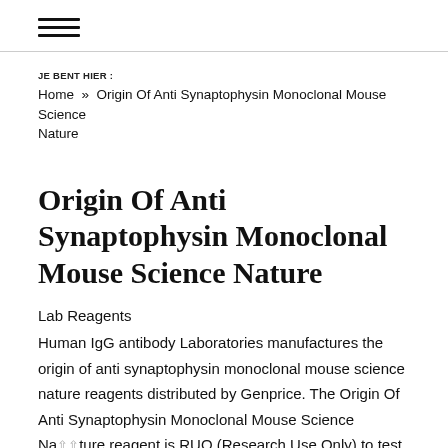☰ (hamburger menu icon)
JE BENT HIER : Home » Origin Of Anti Synaptophysin Monoclonal Mouse Science Nature
Origin Of Anti Synaptophysin Monoclonal Mouse Science Nature
Lab Reagents
Human IgG antibody Laboratories manufactures the origin of anti synaptophysin monoclonal mouse science nature reagents distributed by Genprice. The Origin Of Anti Synaptophysin Monoclonal Mouse Science Nature reagent is RUO (Research Use Only) to test human serum or cell culture lab samples. To purchase these